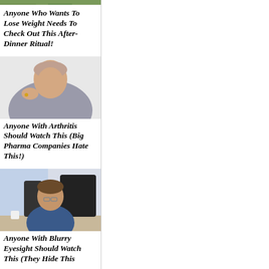[Figure (photo): Partially visible image at top (cropped), appears to show food or nature scene]
Anyone Who Wants To Lose Weight Needs To Check Out This After-Dinner Ritual!
[Figure (photo): Older man with mustache holding his shoulder in pain, wearing a grey shirt]
Anyone With Arthritis Should Watch This (Big Pharma Companies Hate This!)
[Figure (photo): Man at a desk rubbing his eyes/face, looking tired, wearing a blue shirt, sitting in an office]
Anyone With Blurry Eyesight Should Watch This (They Hide This